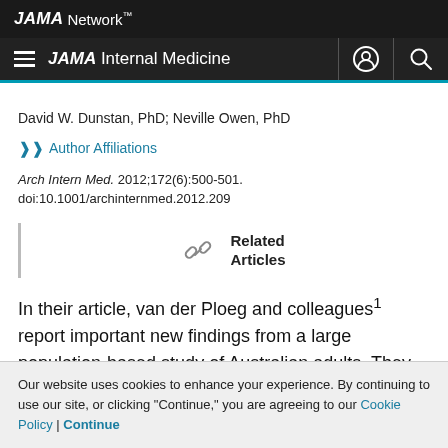JAMA Network
JAMA Internal Medicine
David W. Dunstan, PhD; Neville Owen, PhD
Author Affiliations
Arch Intern Med. 2012;172(6):500-501. doi:10.1001/archinternmed.2012.209
[Figure (other): Related Articles link icon with text 'Related Articles']
In their article, van der Ploeg and colleagues¹ report important new findings from a large population-based study of Australian adults. They show total sitting time to be
Our website uses cookies to enhance your experience. By continuing to use our site, or clicking "Continue," you are agreeing to our Cookie Policy | Continue